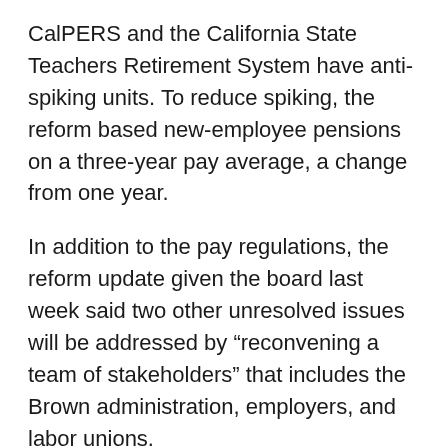CalPERS and the California State Teachers Retirement System have anti-spiking units. To reduce spiking, the reform based new-employee pensions on a three-year pay average, a change from one year.
In addition to the pay regulations, the reform update given the board last week said two other unresolved issues will be addressed by “reconvening a team of stakeholders” that includes the Brown administration, employers, and labor unions.
A need to prevent the transfer of “excessive liability” was revealed when a former Glendale police chief, Randy Adams, took a high-paying job in Bell, more than doubling his pension to $510,000 and sticking Glendale and other former employers with the tab.